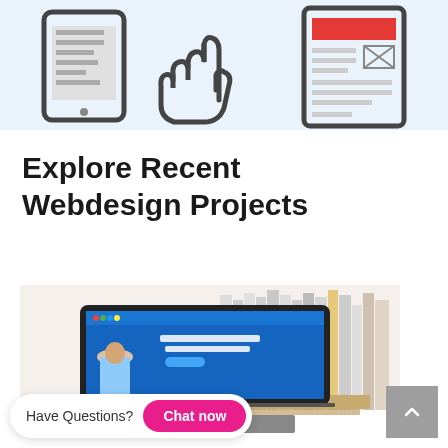[Figure (illustration): Top banner with light blue background showing icons: a tablet device on the left, a hand/cursor pointer in the center, and a webpage wireframe on the right]
Explore Recent Webdesign Projects
[Figure (photo): A laptop computer displaying a blue healthcare website with 'We Care About Your Health First' text and a man with crossed arms, positioned on a desk with books/magazines in the background]
Have Questions?
Chat now